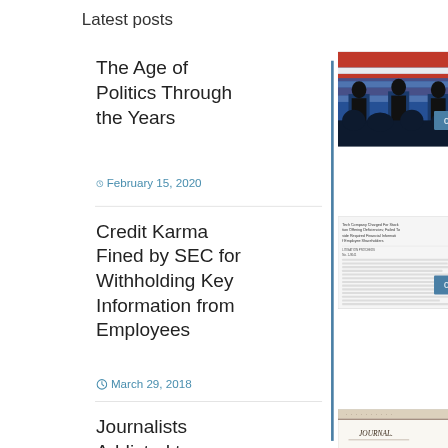Latest posts
The Age of Politics Through the Years
February 15, 2020
[Figure (photo): Political debate scene with candidates at podiums, American flags in background, audience silhouettes in foreground. Badge showing '0'.]
Credit Karma Fined by SEC for Withholding Key Information from Employees
March 29, 2018
[Figure (screenshot): Document screenshot about tech company SEC stock option case. Badge showing '0'.]
Journalists Addicted to Intemperance
[Figure (photo): Old journal cover page. Badge showing '0'.]